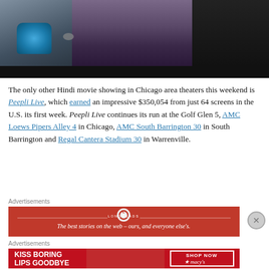[Figure (photo): Cropped photo showing two people, one with a blue wristband/cast on left arm and plaid shirt, the other in a purple/dark top, dark background]
The only other Hindi movie showing in Chicago area theaters this weekend is Peepli Live, which earned an impressive $350,054 from just 64 screens in the U.S. its first week. Peepli Live continues its run at the Golf Glen 5, AMC Loews Pipers Alley 4 in Chicago, AMC South Barrington 30 in South Barrington and Regal Cantera Stadium 30 in Warrenville.
Advertisements
[Figure (screenshot): Longreads advertisement banner - red background with logo and text 'The best stories on the web - ours, and everyone else's.']
Advertisements
[Figure (screenshot): Macy's advertisement - red background with text 'KISS BORING LIPS GOODBYE' and 'SHOP NOW' button with Macy's star logo]